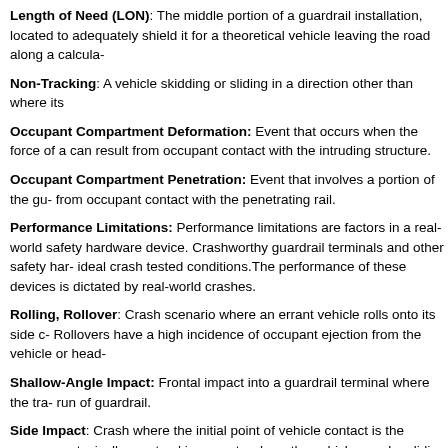Length of Need (LON): The middle portion of a guardrail installation, located to adequately shield it for a theoretical vehicle leaving the road along a calcula-
Non-Tracking: A vehicle skidding or sliding in a direction other than where its
Occupant Compartment Deformation: Event that occurs when the force of a can result from occupant contact with the intruding structure.
Occupant Compartment Penetration: Event that involves a portion of the gu- from occupant contact with the penetrating rail.
Performance Limitations: Performance limitations are factors in a real-world safety hardware device. Crashworthy guardrail terminals and other safety har- ideal crash tested conditions.The performance of these devices is dictated by real-world crashes.
Rolling, Rollover: Crash scenario where an errant vehicle rolls onto its side c- Rollovers have a high incidence of occupant ejection from the vehicle or head-
Shallow-Angle Impact: Frontal impact into a guardrail terminal where the tra- run of guardrail.
Side Impact: Crash where the initial point of vehicle contact is the passenger typically non-tracking events where the vehicle may be sliding at an angle or y-
Snagging: The undesirable interaction of vehicle components with a barrier fa- Parts of the vehicle may be sheared off, or the vehicle may decelerate abrupt- may lead to rail separation and failure of the barrier to contain the vehicle.
Spearing: Guardrail penetrating the exterior of an impacting vehicle and pote-
Sudden Deceleration: This event involves forces exerted when a vehicle is sh-